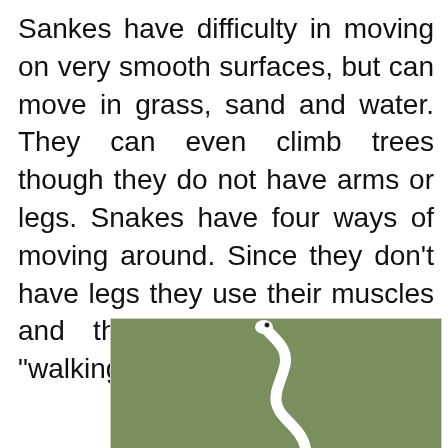Sankes have difficulty in moving on very smooth surfaces, but can move in grass, sand and water. They can even climb trees though they do not have arms or legs. Snakes have four ways of moving around. Since they don't have legs they use their muscles and their scales to do the "walking".
[Figure (photo): A white snake with raised head against an olive/sage green background]